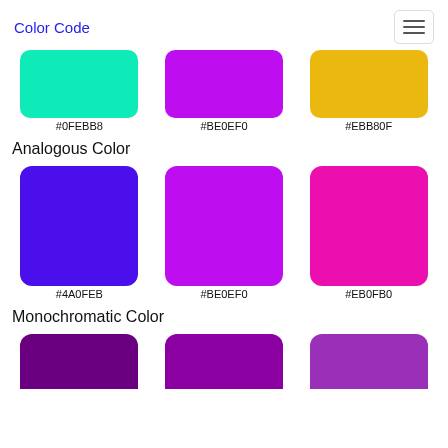Color Code
[Figure (illustration): Three color swatches: #0FEBB8 (teal/green), #BE0EF0 (purple), #EBB80F (golden yellow)]
#0FEBB8   #BE0EF0   #EBB80F
Analogous Color
[Figure (illustration): Three color swatches: #4A0FEB (blue-purple), #BE0EF0 (purple), #EB0FB0 (hot pink)]
#4A0FEB   #BE0EF0   #EB0FB0
Monochromatic Color
[Figure (illustration): Three color swatches partially visible at bottom: dark purple, medium purple, lighter purple]